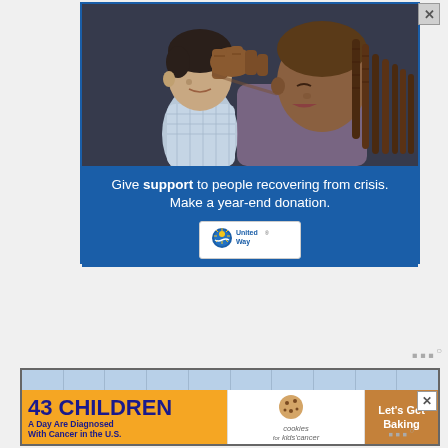[Figure (photo): Advertisement banner for United Way. Top portion shows a photo of a woman with braids kissing a young child on the forehead. Below the photo on a blue background: 'Give support to people recovering from crisis. Make a year-end donation.' with the United Way logo.]
www°
[Figure (screenshot): Bottom advertisement banner for cookies for kids cancer: '43 CHILDREN A Day Are Diagnosed With Cancer in the U.S.' with cookies logo and 'Let's Get Baking' text on right side.]